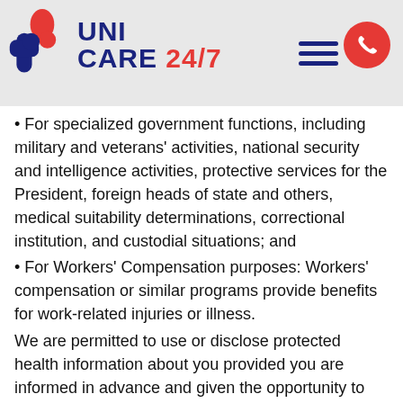[Figure (logo): UniCare 24/7 logo with red and blue cross/medical symbol icon and text]
For specialized government functions, including military and veterans' activities, national security and intelligence activities, protective services for the President, foreign heads of state and others, medical suitability determinations, correctional institution, and custodial situations; and
For Workers' Compensation purposes: Workers' compensation or similar programs provide benefits for work-related injuries or illness.
We are permitted to use or disclose protected health information about you provided you are informed in advance and given the opportunity to individually